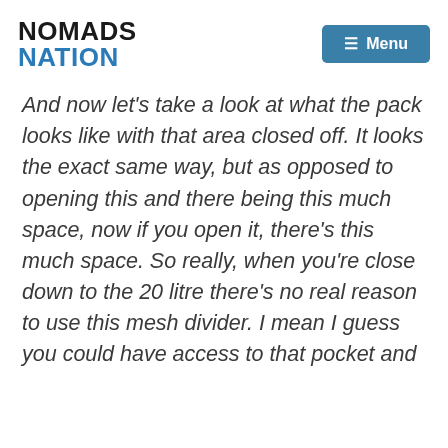NOMADS NATION
And now let’s take a look at what the pack looks like with that area closed off. It looks the exact same way, but as opposed to opening this and there being this much space, now if you open it, there’s this much space. So really, when you’re close down to the 20 litre there’s no real reason to use this mesh divider. I mean I guess you could have access to that pocket and